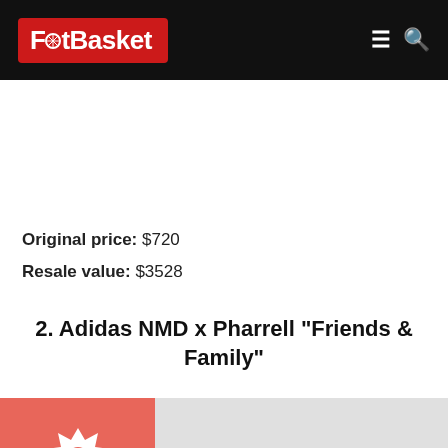FootBasket
Original price: $720
Resale value: $3528
2. Adidas NMD x Pharrell "Friends & Family"
[Figure (illustration): Red square box with white geometric star/badge icon on left; gray rectangle on right, representing an image placeholder]